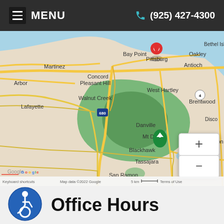MENU   (925) 427-4300
[Figure (map): Google Maps showing East Bay Area, California including Martinez, Bay Point, Pittsburg, Antioch, Concord, Pleasant Hill, Walnut Creek, Lafayette, Mt Diablo, Danville, Blackhawk, Tassajara, San Ramon, Brentwood, Oakley, Bethel Island, Byron. A red location pin is placed near Pittsburg/Bay Point. Green Mt Diablo pin visible. Route 680 marked. Map data ©2022 Google, 5 km scale.]
Office Hours